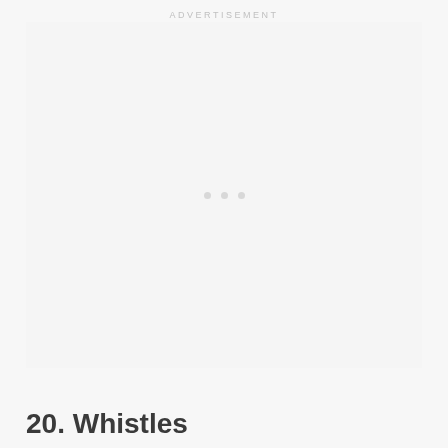ADVERTISEMENT
[Figure (other): Advertisement placeholder area with three light grey dots centered in a light grey rectangle]
20. Whistles